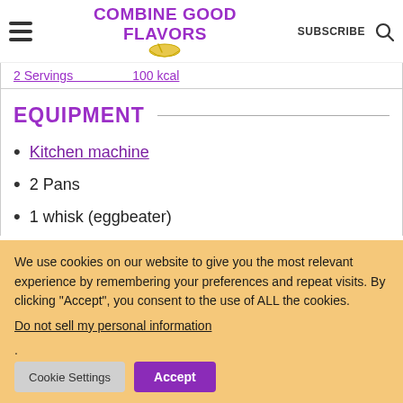COMBINE GOOD FLAVORS | SUBSCRIBE
2 Servings   100 kcal
EQUIPMENT
Kitchen machine
2 Pans
1 whisk (eggbeater)
We use cookies on our website to give you the most relevant experience by remembering your preferences and repeat visits. By clicking “Accept”, you consent to the use of ALL the cookies.
Do not sell my personal information.